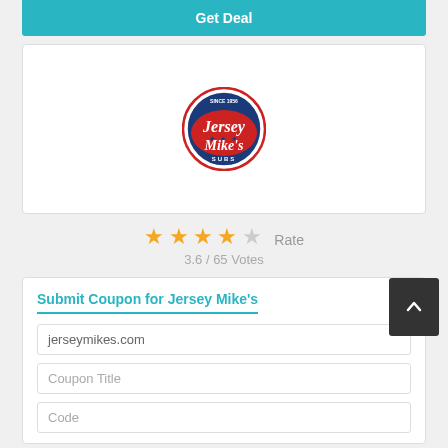Get Deal
[Figure (logo): Jersey Mike's Subs logo — oval with blue background, red text reading Jersey Mike's, white text SUBS, stars]
3.6 / 65 Votes
Submit Coupon for Jersey Mike's
jerseymikes.com
Coupon Title
Code